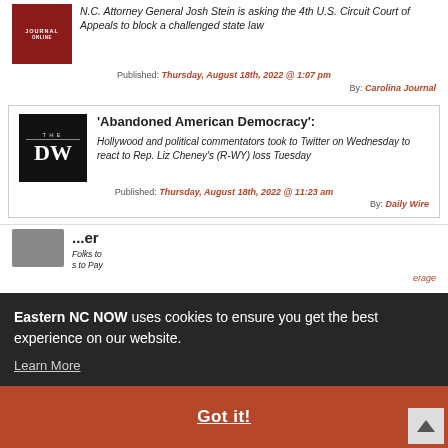N.C. Attorney General Josh Stein is asking the 4th U.S. Circuit Court of Appeals to block a challenged state law
Published: Thursday, August 18th, 2022 @ 1:07 pm
By: Carolina Journal
'Abandoned American Democracy':
Hollywood and political commentators took to Twitter on Wednesday to react to Rep. Liz Cheney's (R-WY) loss Tuesday
Published: Thursday, August 18th, 2022 @ 11:23 am
By: Daily Wire
...er
Folks to s to Pay
erage
Eastern NC NOW uses cookies to ensure you get the best experience on our website. Learn More
Got it!
Democrat President Joe Biden's treasury secretary, J